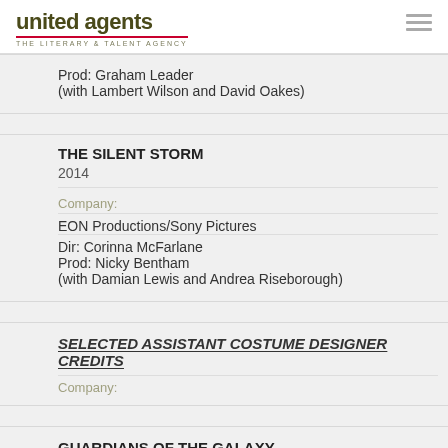united agents — THE LITERARY & TALENT AGENCY
Prod: Graham Leader
(with Lambert Wilson and David Oakes)
THE SILENT STORM
2014
Company:
EON Productions/Sony Pictures
Dir: Corinna McFarlane
Prod: Nicky Bentham
(with Damian Lewis and Andrea Riseborough)
SELECTED ASSISTANT COSTUME DESIGNER CREDITS
Company:
GUARDIANS OF THE GALAXY